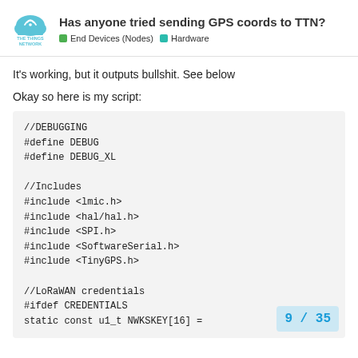Has anyone tried sending GPS coords to TTN? — End Devices (Nodes) | Hardware
It's working, but it outputs bullshit. See below
Okay so here is my script:
9 / 35